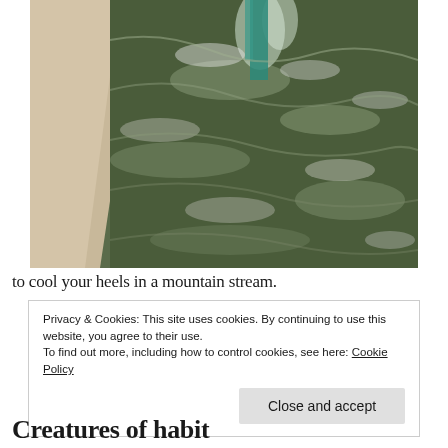[Figure (photo): Close-up photograph of flowing water in a mountain stream, showing rippling water with greenish-brown hues, splashing water surface with teal/turquoise colored element visible at the top, and sandy/rocky bank on the left side.]
to cool your heels in a mountain stream.
Privacy & Cookies: This site uses cookies. By continuing to use this website, you agree to their use.
To find out more, including how to control cookies, see here: Cookie Policy
Close and accept
Creatures of habit